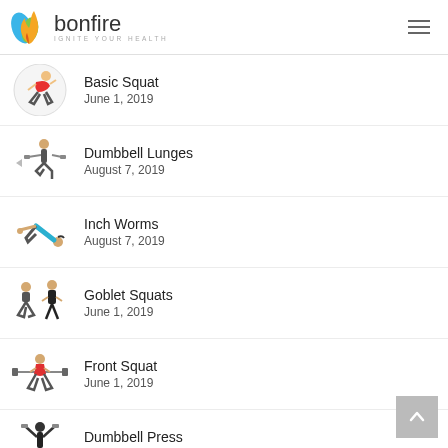bonfire — IGNITE YOUR HEALTH
Basic Squat — June 1, 2019
Dumbbell Lunges — August 7, 2019
Inch Worms — August 7, 2019
Goblet Squats — June 1, 2019
Front Squat — June 1, 2019
Dumbbell Press — June 19, 2019